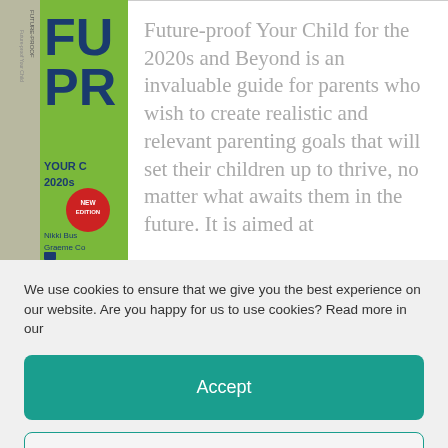[Figure (photo): Book cover of 'Future-Proof Your Child for the 2020s and Beyond' by Nikki Bush and Graeme Codrington, green cover with the book spine visible, showing 'NEW EDITION' red badge]
Future-proof Your Child for the 2020s and Beyond is an invaluable guide for parents who wish to create realistic and relevant parenting goals that will set their children up to thrive, no matter what awaits them in the future. It is aimed at
We use cookies to ensure that we give you the best experience on our website. Are you happy for us to use cookies? Read more in our